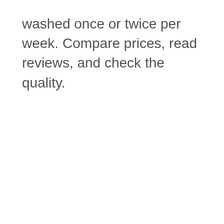washed once or twice per week. Compare prices, read reviews, and check the quality.